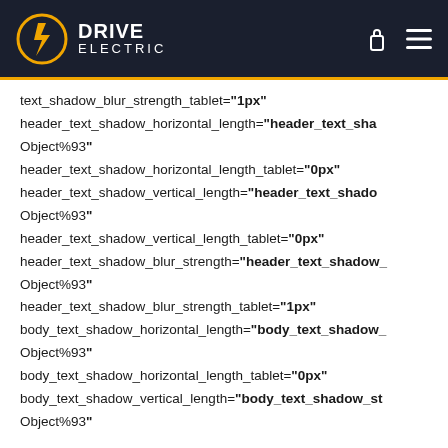Drive Electric
text_shadow_blur_strength_tablet="1px"
header_text_shadow_horizontal_length="header_text_shadow_Object%93"
header_text_shadow_horizontal_length_tablet="0px"
header_text_shadow_vertical_length="header_text_shadow_Object%93"
header_text_shadow_vertical_length_tablet="0px"
header_text_shadow_blur_strength="header_text_shadow_Object%93"
header_text_shadow_blur_strength_tablet="1px"
body_text_shadow_horizontal_length="body_text_shadow_Object%93"
body_text_shadow_horizontal_length_tablet="0px"
body_text_shadow_vertical_length="body_text_shadow_stObject%93"